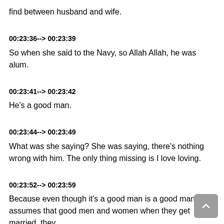find between husband and wife.
00:23:36--> 00:23:39
So when she said to the Navy, so Allah Allah, he was alum.
00:23:41--> 00:23:42
He's a good man.
00:23:44--> 00:23:49
What was she saying? She was saying, there's nothing wrong with him. The only thing missing is I love loving.
00:23:52--> 00:23:59
Because even though it's a good man is a good man. One assumes that good men and women when they get married, they